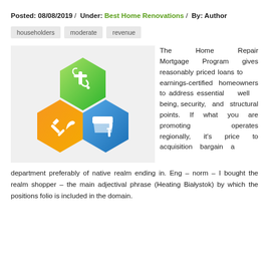Posted: 08/08/2019 / Under: Best Home Renovations / By: Author
householders
moderate
revenue
[Figure (illustration): Home repair icon with three hexagonal shapes: green (faucet/pipe), orange (hammer and wrench), blue (paint roller)]
The Home Repair Mortgage Program gives reasonably priced loans to earnings-certified homeowners to address essential well being, security, and structural points. If what you are promoting operates regionally, it's price to acquisition bargain a department preferably of native realm ending in. Eng – norm – I bought the realm shopper – the main adjectival phrase (Heating Białystok) by which the positions folio is included in the domain.